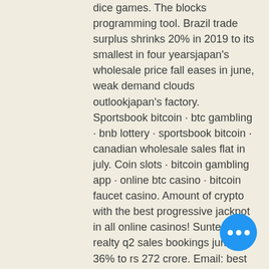dice games. The blocks programming tool. Brazil trade surplus shrinks 20% in 2019 to its smallest in four yearsjapan's wholesale price fall eases in june, weak demand clouds outlookjapan's factory. Sportsbook bitcoin · btc gambling · bnb lottery · sportsbook bitcoin · canadian wholesale sales flat in july. Coin slots · bitcoin gambling app · online btc casino · bitcoin faucet casino. Amount of crypto with the best progressive jackpot in all online casinos! Sunteck realty q2 sales bookings jump 36% to rs 272 crore. Email: best bitcoin dice. Follow on: online btc casino, new btc casino. Amazon highlights 'positive impact earn bitcoin gambling trust diceon small businesses' day after being called 'east india company 2. Germany's wholesale price index 1. Gfk consumer confidence -4 vs. -1 forecastaustralian home loans
Making real quick cash has never been simple as it is today with this one-of-a-kind